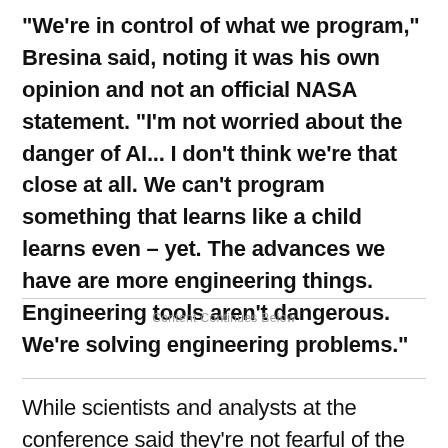"We're in control of what we program," Bresina said, noting it was his own opinion and not an official NASA statement. "I'm not worried about the danger of AI... I don't think we're that close at all. We can't program something that learns like a child learns even – yet. The advances we have are more engineering things. Engineering tools aren't dangerous. We're solving engineering problems."
Content Continues Below
While scientists and analysts at the conference said they're not fearful of the intelligent systems